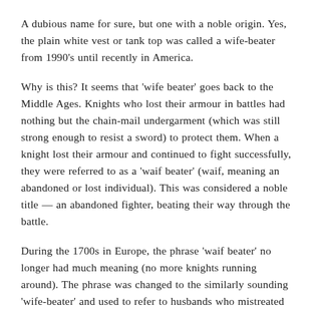A dubious name for sure, but one with a noble origin. Yes, the plain white vest or tank top was called a wife-beater from 1990's until recently in America.
Why is this? It seems that 'wife beater' goes back to the Middle Ages. Knights who lost their armour in battles had nothing but the chain-mail undergarment (which was still strong enough to resist a sword) to protect them. When a knight lost their armour and continued to fight successfully, they were referred to as a 'waif beater' (waif, meaning an abandoned or lost individual). This was considered a noble title — an abandoned fighter, beating their way through the battle.
During the 1700s in Europe, the phrase 'waif beater' no longer had much meaning (no more knights running around). The phrase was changed to the similarly sounding 'wife-beater' and used to refer to husbands who mistreated their partners.